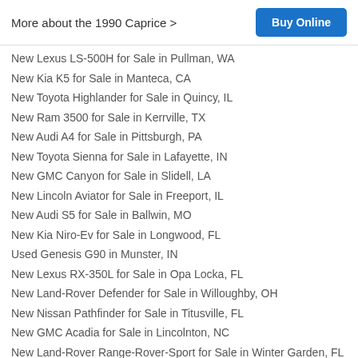More about the 1990 Caprice >
Buy Online
New Lexus LS-500H for Sale in Pullman, WA
New Kia K5 for Sale in Manteca, CA
New Toyota Highlander for Sale in Quincy, IL
New Ram 3500 for Sale in Kerrville, TX
New Audi A4 for Sale in Pittsburgh, PA
New Toyota Sienna for Sale in Lafayette, IN
New GMC Canyon for Sale in Slidell, LA
New Lincoln Aviator for Sale in Freeport, IL
New Audi S5 for Sale in Ballwin, MO
New Kia Niro-Ev for Sale in Longwood, FL
Used Genesis G90 in Munster, IN
New Lexus RX-350L for Sale in Opa Locka, FL
New Land-Rover Defender for Sale in Willoughby, OH
New Nissan Pathfinder for Sale in Titusville, FL
New GMC Acadia for Sale in Lincolnton, NC
New Land-Rover Range-Rover-Sport for Sale in Winter Garden, FL